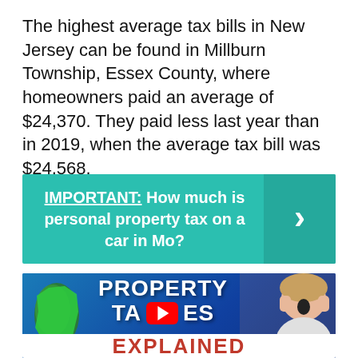The highest average tax bills in New Jersey can be found in Millburn Township, Essex County, where homeowners paid an average of $24,370. They paid less last year than in 2019, when the average tax bill was $24,568.
[Figure (infographic): Teal/green banner with text: IMPORTANT: How much is personal property tax on a car in Mo? with a right-arrow button on the right side.]
[Figure (screenshot): Thumbnail image showing a blue background with a green New Jersey state silhouette, large white bold text reading PROPERTY TAXES with a YouTube play button overlapping, a shocked woman on the right, and EXPLAINED text at the bottom in red.]